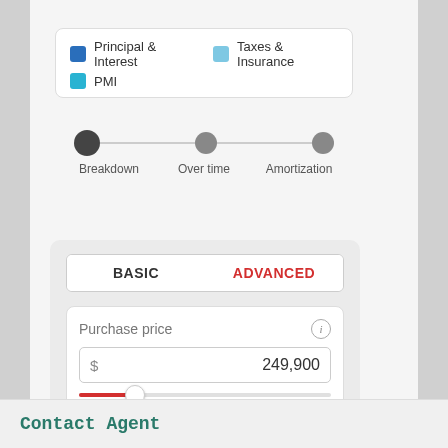[Figure (infographic): Legend showing three categories: Principal & Interest (dark blue square), Taxes & Insurance (light blue square), PMI (cyan square)]
[Figure (infographic): Step indicator with three steps: Breakdown (active/selected, dark filled circle), Over time (grey circle), Amortization (grey circle)]
[Figure (screenshot): Mortgage calculator UI card with BASIC/ADVANCED toggle, Purchase price field showing $249,900 with slider, and Down payment field showing 25%]
Contact Agent